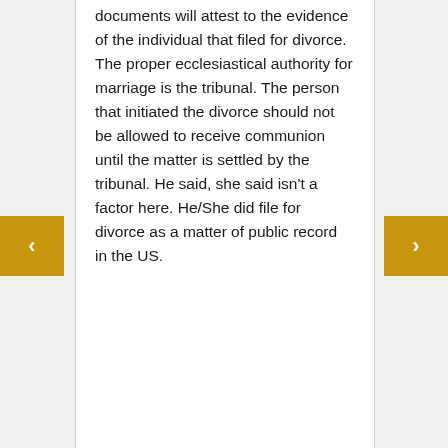documents will attest to the evidence of the individual that filed for divorce. The proper ecclesiastical authority for marriage is the tribunal. The person that initiated the divorce should not be allowed to receive communion until the matter is settled by the tribunal. He said, she said isn't a factor here. He/She did file for divorce as a matter of public record in the US.